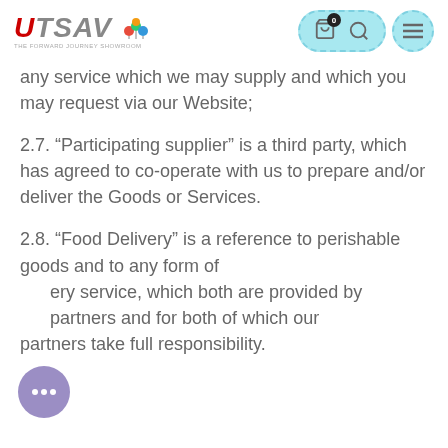[Figure (logo): Utsav logo with colorful balloons, red and gray stylized text, tagline below]
[Figure (screenshot): Navigation icons: cart with badge '0', search icon in teal pill, menu hamburger icon in teal circle]
any service which we may supply and which you may request via our Website;
2.7. “Participating supplier” is a third party, which has agreed to co-operate with us to prepare and/or deliver the Goods or Services.
2.8. “Food Delivery” is a reference to perishable goods and to any form of delivery service, which both are provided by partners and for both of which our partners take full responsibility.
[Figure (illustration): Purple chat bubble icon with three dots at bottom-left of page]